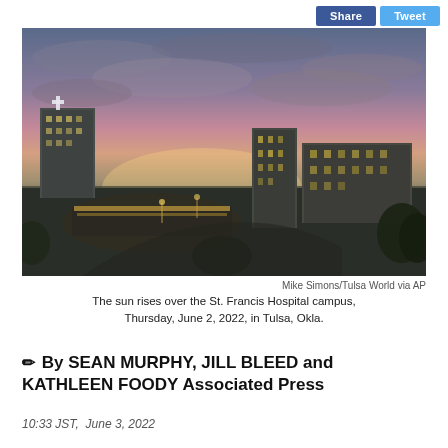[Figure (photo): Aerial dusk/dawn view of St. Francis Hospital campus in Tulsa, Oklahoma, with illuminated buildings and a pink-purple sky.]
Mike Simons/Tulsa World via AP
The sun rises over the St. Francis Hospital campus, Thursday, June 2, 2022, in Tulsa, Okla.
✏ By SEAN MURPHY, JILL BLEED and KATHLEEN FOODY Associated Press
10:33 JST,  June 3, 2022